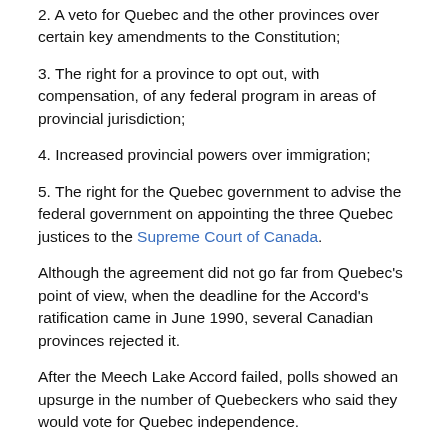2. A veto for Quebec and the other provinces over certain key amendments to the Constitution;
3. The right for a province to opt out, with compensation, of any federal program in areas of provincial jurisdiction;
4. Increased provincial powers over immigration;
5. The right for the Quebec government to advise the federal government on appointing the three Quebec justices to the Supreme Court of Canada.
Although the agreement did not go far from Quebec's point of view, when the deadline for the Accord's ratification came in June 1990, several Canadian provinces rejected it.
After the Meech Lake Accord failed, polls showed an upsurge in the number of Quebeckers who said they would vote for Quebec independence.
Had the Parti Québécois been in power in 1990, Quebeckers would have given sovereignty a large majority.
The failure of Meech led to the creation of the Bloc Québécois, the sovereignist party that I lead.